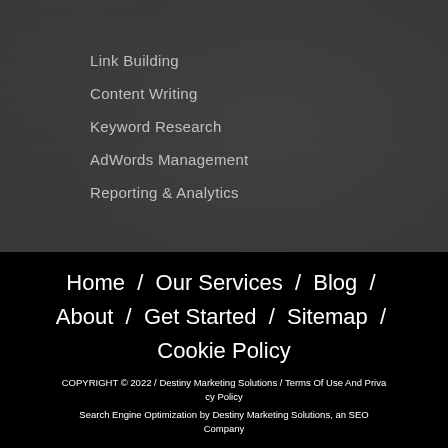Link Building
Content Writing
Keyword Research
AdWords Management
Reporting & Analytics
Home / Our Services / Blog / About / Get Started / Sitemap / Cookie Policy
COPYRIGHT © 2022 / Destiny Marketing Solutions / Terms Of Use And Privacy Policy
Search Engine Optimization by Destiny Marketing Solutions, an SEO Company